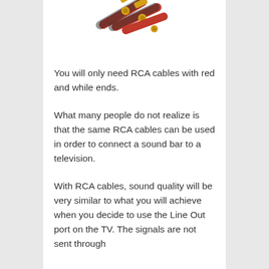[Figure (photo): RCA cables with red and gold connector ends, showing two cable connectors angled diagonally]
You will only need RCA cables with red and while ends.
What many people do not realize is that the same RCA cables can be used in order to connect a sound bar to a television.
With RCA cables, sound quality will be very similar to what you will achieve when you decide to use the Line Out port on the TV. The signals are not sent through